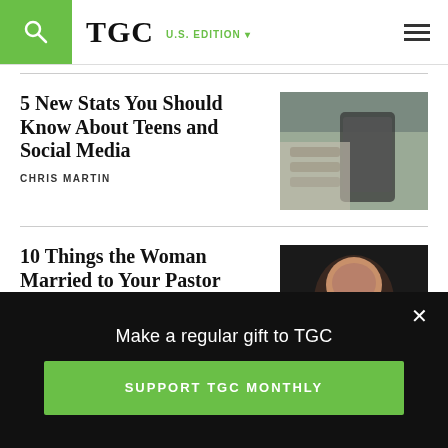TGC U.S. EDITION
5 New Stats You Should Know About Teens and Social Media
CHRIS MARTIN
[Figure (photo): Person holding a smartphone, wearing a striped shirt]
10 Things the Woman Married to Your Pastor Wants You to Know
[Figure (photo): Close-up of a woman with eyes closed, dark background]
Make a regular gift to TGC
SUPPORT TGC MONTHLY